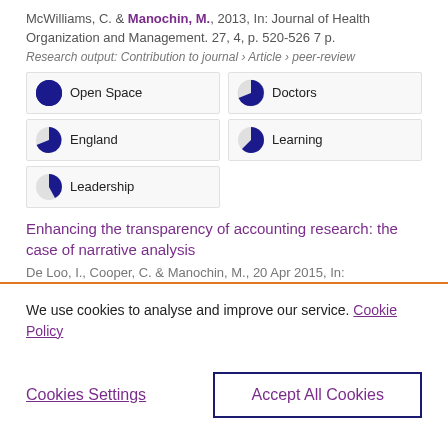McWilliams, C. & Manochin, M., 2013, In: Journal of Health Organization and Management. 27, 4, p. 520-526 7 p.
Research output: Contribution to journal › Article › peer-review
Open Space
Doctors
England
Learning
Leadership
Enhancing the transparency of accounting research: the case of narrative analysis
De Loo, I., Cooper, C. & Manochin, M., 20 Apr 2015, In:
We use cookies to analyse and improve our service. Cookie Policy